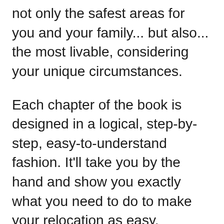not only the safest areas for you and your family... but also... the most livable, considering your unique circumstances.
Each chapter of the book is designed in a logical, step-by-step, easy-to-understand fashion. It'll take you by the hand and show you exactly what you need to do to make your relocation as easy, painless... and... maybe most important, as satisfying as possible.
Here is a breakdown of what you'll